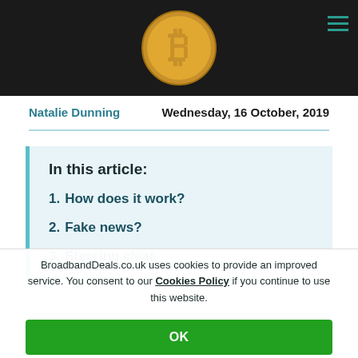[Figure (photo): Hero image showing a gold Bitcoin coin on a dark background with a teal hamburger menu icon in the top right.]
Natalie Dunning    Wednesday, 16 October, 2019
In this article:
1. How does it work?
2. Fake news?
3. Steering clear
Criminals are capitalising on the wave of unsuspecting
BroadbandDeals.co.uk uses cookies to provide an improved service. You consent to our Cookies Policy if you continue to use this website.
OK